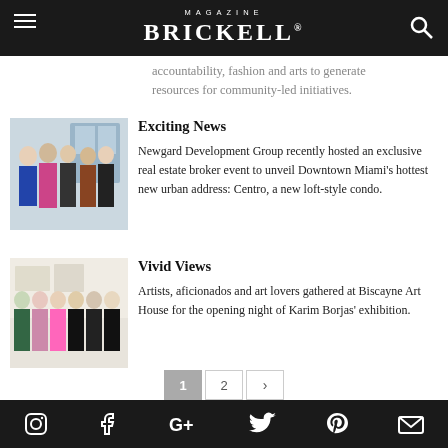MAGAZINE BRICKELL
accountability, fashion and arts to generate resources for community-led initiatives.
Exciting News
[Figure (photo): Group photo of people at a real estate broker event]
Newgard Development Group recently hosted an exclusive real estate broker event to unveil Downtown Miami’s hottest new urban address: Centro, a new loft-style condo.
Vivid Views
[Figure (photo): Group photo of women at an art gallery opening]
Artists, aficionados and art lovers gathered at Biscayne Art House for the opening night of Karim Borjas’ exhibition.
Instagram | Facebook | Google+ | Twitter | Pinterest | Email